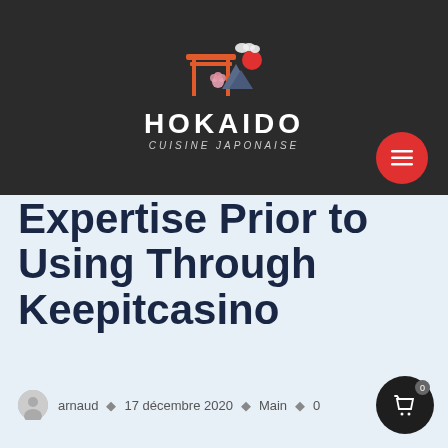[Figure (logo): Hokaido Cuisine Japonaise logo with torii gate, mountains, cherry blossom and red sun on dark background]
Expertise Prior to Using Through Keepitcasino
arnaud · 17 décembre 2020 · Main · 0